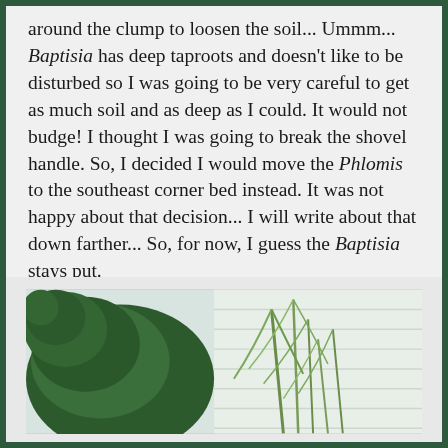around the clump to loosen the soil... Ummm... Baptisia has deep taproots and doesn't like to be disturbed so I was going to be very careful to get as much soil and as deep as I could. It would not budge! I thought I was going to break the shovel handle. So, I decided I would move the Phlomis to the southeast corner bed instead. It was not happy about that decision... I will write about that down farther... So, for now, I guess the Baptisia stays put.
[Figure (photo): Photograph of green plants including what appears to be a conifer and tall grass-like plants against a light background]